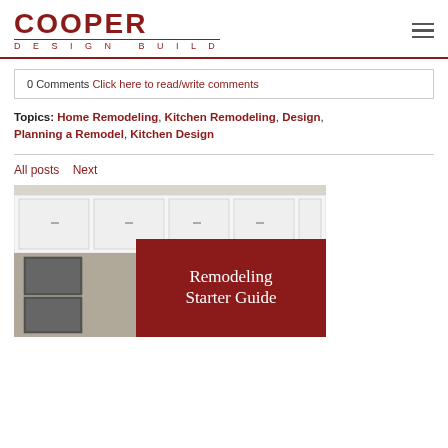COOPER DESIGN BUILD
0 Comments Click here to read/write comments
Topics: Home Remodeling, Kitchen Remodeling, Design, Planning a Remodel, Kitchen Design
All posts   Next
[Figure (photo): Kitchen remodel photo with white cabinets and stainless steel appliances, overlaid with a dark red banner reading 'Remodeling Starter Guide']